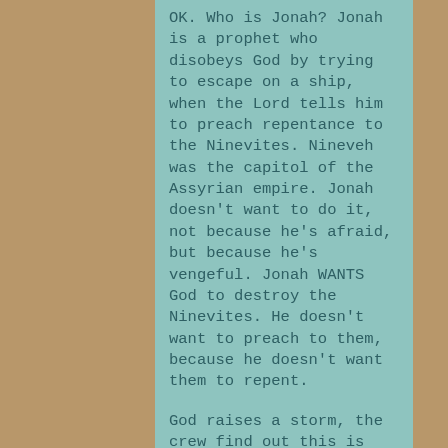OK. Who is Jonah? Jonah is a prophet who disobeys God by trying to escape on a ship, when the Lord tells him to preach repentance to the Ninevites. Nineveh was the capitol of the Assyrian empire. Jonah doesn't want to do it, not because he's afraid, but because he's vengeful. Jonah WANTS God to destroy the Ninevites. He doesn't want to preach to them, because he doesn't want them to repent.
God raises a storm, the crew find out this is Jonah's fault, they throw him overboard, and Jonah is swallowed by a large fish. Jonah spends three days in the belly of the fish, giving thanks and praise to God for sparing his life. The fish then vomits Jonah up on the shores of Nineveh, and Jonah is a changed man, ready to begin his mission. Preaching for three days, he changes the hearts of